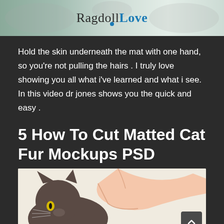[Figure (logo): RagdollLove website logo banner with cat silhouette watermark, 'Ragdoll' in serif dark text and 'Love' in blue text with a small blue heart dot beneath]
Hold the skin underneath the mat with one hand, so you're not pulling the hairs . I truly love showing you all what i've learned and what i see. In this video dr jones shows you the quick and easy .
5 How To Cut Matted Cat Fur Mockups PSD
[Figure (illustration): Illustration of a dark gray cat being groomed/handled by a human hand on a light beige background]